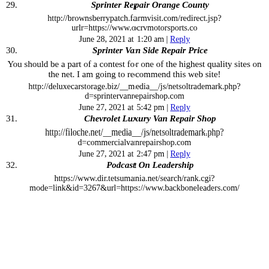29. Sprinter Repair Orange County
http://brownsberrypatch.farmvisit.com/redirect.jsp?urlr=https://www.ocrvmotorsports.co
June 28, 2021 at 1:20 am | Reply
30. Sprinter Van Side Repair Price
You should be a part of a contest for one of the highest quality sites on the net. I am going to recommend this web site!
http://deluxecarstorage.biz/__media__/js/netsoltrademark.php?d=sprintervanrepairshop.com
June 27, 2021 at 5:42 pm | Reply
31. Chevrolet Luxury Van Repair Shop
http://filoche.net/__media__/js/netsoltrademark.php?d=commercialvanrepairshop.com
June 27, 2021 at 2:47 pm | Reply
32. Podcast On Leadership
https://www.dir.tetsumania.net/search/rank.cgi?mode=link&id=3267&url=https://www.backboneleaders.com/